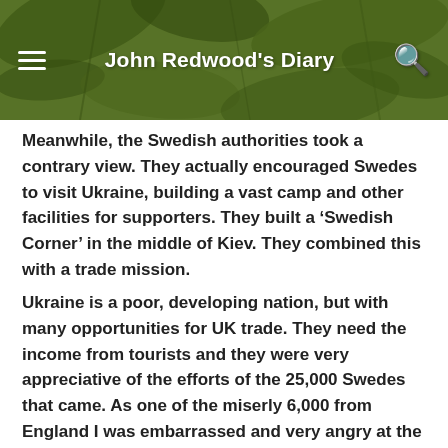John Redwood's Diary
Meanwhile, the Swedish authorities took a contrary view. They actually encouraged Swedes to visit Ukraine, building a vast camp and other facilities for supporters. They built a ‘Swedish Corner’ in the middle of Kiev. They combined this with a trade mission.
Ukraine is a poor, developing nation, but with many opportunities for UK trade. They need the income from tourists and they were very appreciative of the efforts of the 25,000 Swedes that came. As one of the miserly 6,000 from England I was embarrassed and very angry at the destructive self-loathing and pathetic moralising attitude of our political/media elite.